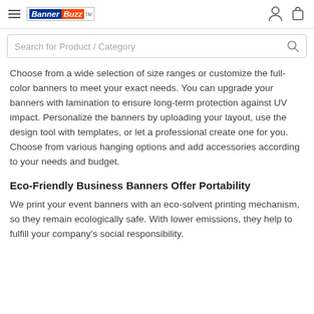BannerBuzz — navigation bar with hamburger menu, logo, user and cart icons
Search for Product / Category
Choose from a wide selection of size ranges or customize the full-color banners to meet your exact needs. You can upgrade your banners with lamination to ensure long-term protection against UV impact. Personalize the banners by uploading your layout, use the design tool with templates, or let a professional create one for you. Choose from various hanging options and add accessories according to your needs and budget.
Eco-Friendly Business Banners Offer Portability
We print your event banners with an eco-solvent printing mechanism, so they remain ecologically safe. With lower emissions, they help to fulfill your company's social responsibility.